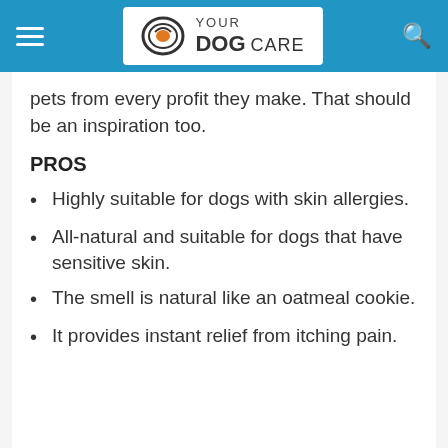YOUR DOG CARE
pets from every profit they make. That should be an inspiration too.
PROS
Highly suitable for dogs with skin allergies.
All-natural and suitable for dogs that have sensitive skin.
The smell is natural like an oatmeal cookie.
It provides instant relief from itching pain.